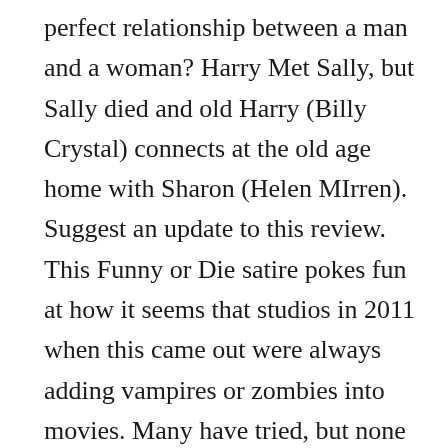perfect relationship between a man and a woman? Harry Met Sally, but Sally died and old Harry (Billy Crystal) connects at the old age home with Sharon (Helen MIrren). Suggest an update to this review. This Funny or Die satire pokes fun at how it seems that studios in 2011 when this came out were always adding vampires or zombies into movies. Many have tried, but none has succeeded in capturing the charm, wit, and chemistry between Billy Crystal and Meg Ryan shown onscreen in this classic romantic comedy. When Harry Met Sally. Regarder les series streaming en illimité gratuitement et sans abonnement sur dpstream. that's what